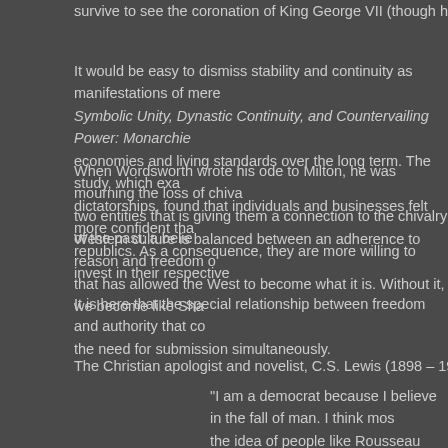survive to see the coronation of King George VII (though he will certainly outli...
It would be easy to dismiss stability and continuity as manifestations of mere... Symbolic Unity, Dynastic Continuity, and Countervailing Power: Monarchie... economies and living standards over the long term. The study, which exa... dictatorships, found that individuals and businesses felt more confident tha... republics. As a consequence, they are more willing to invest in their respective...
When Wordsworth wrote his ode to Milton, he was mourning the loss of chival... two entities that is giving them a connection to the chivalry of the past: a belie...
Western culture is balanced between an adherence to reason and freedom o... that has allowed the West to become what it is. Without it, we become like Sha...
It is here that the special relationship between freedom and authority that co... the need for submission simultaneously.
The Christian apologist and novelist, C.S. Lewis (1898 – 1964) once [link] sh...
"I am a democrat because I believe in the fall of man. I think most... the idea of people like Rousseau who believed in democracy bec... danger of defending democracy on those grounds is that they're n... exposure."
The necessity for limited government, much like the necessity for authority, co... are not) that they ought to be given unchecked power over their fellows. And... but unlimited power is wrong because there is no one person who is perfect...